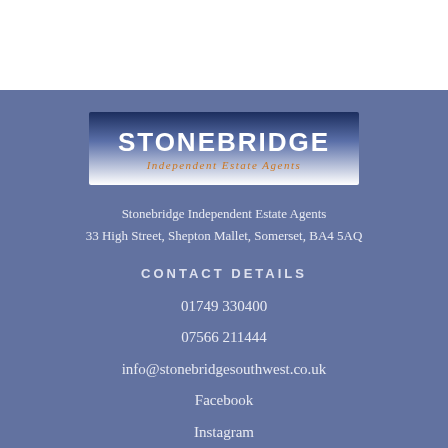[Figure (logo): Stonebridge Independent Estate Agents logo with dark blue top and white gradient bottom, orange italic subtitle]
Stonebridge Independent Estate Agents
33 High Street, Shepton Mallet, Somerset, BA4 5AQ
CONTACT DETAILS
01749 330400
07566 211444
info@stonebridgesouthwest.co.uk
Facebook
Instagram